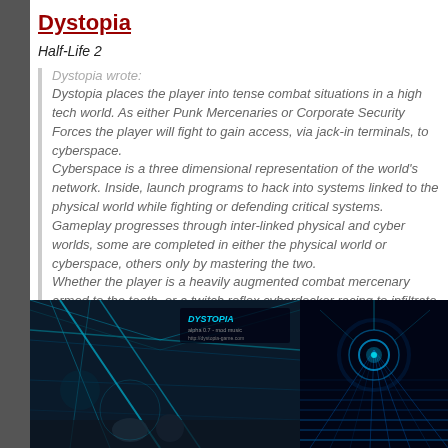Dystopia
Half-Life 2
Dystopia wrote:
Dystopia places the player into tense combat situations in a high tech world. As either Punk Mercenaries or Corporate Security Forces the player will fight to gain access, via jack-in terminals, to cyberspace.
Cyberspace is a three dimensional representation of the world's network. Inside, launch programs to hack into systems linked to the physical world while fighting or defending critical systems. Gameplay progresses through inter-linked physical and cyber worlds, some are completed in either the physical world or cyberspace, others only by mastering the two.
Whether the player is a heavily augmented combat mercenary armed to the teeth, or a twitch reflex cyberdecker racing to infiltrate a cyberspace node; they'll be in a constant battle. Only through skillful use of the high tech arsenal we're making available will players truly jack-in and kick ass.
[Figure (screenshot): Dystopia game screenshot showing futuristic combat scene with blue teal tones and the Dystopia logo overlay]
[Figure (screenshot): Dystopia cyberspace screenshot showing blue glowing grid lines in dark environment]